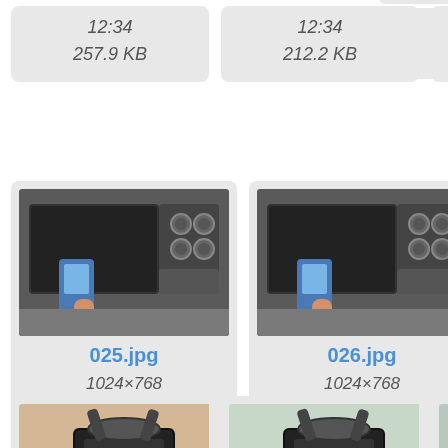[Figure (screenshot): File browser / gallery view showing image thumbnails with filenames, dimensions, dates, and file sizes. Partial top row shows metadata for files: 12:34 / 257.9 KB, 12:34 / 212.2 KB, 12:34 / 146.8 KB. Middle row: 025.jpg (1024x768, 2021/04/18, 12:34, 193.7 KB) showing toaster oven with multimeter; 026.jpg (1024x768, 2021/04/18, 12:34, 151.3 KB) similar oven scene; 027.jpg (1024x768, 2021/04/18, 12:34, 150.9 KB) close-up of metal clip/clamp. Bottom row partial: 028.jpg clip photo, 029.jpg clip photo, 030.jpg clip photo.]